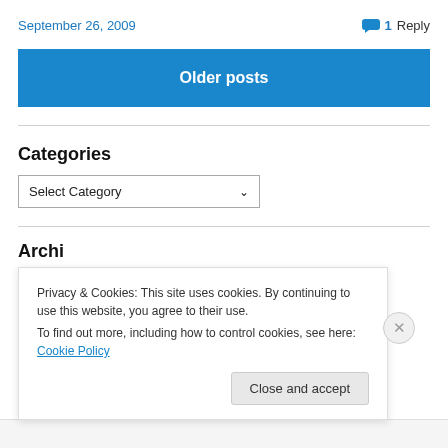September 26, 2009
1 Reply
Older posts
Categories
Select Category
Archi...
Privacy & Cookies: This site uses cookies. By continuing to use this website, you agree to their use. To find out more, including how to control cookies, see here: Cookie Policy
Close and accept